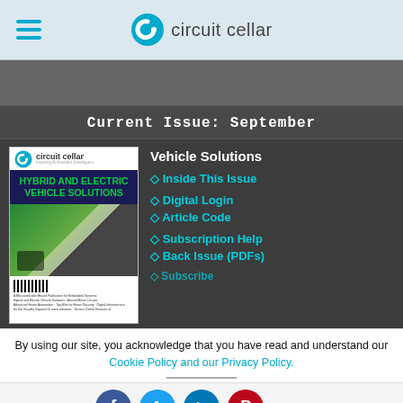circuit cellar
[Figure (screenshot): Dark banner/image area below header]
Current Issue: September
[Figure (photo): Circuit Cellar magazine cover showing Hybrid and Electric Vehicle Solutions issue]
Vehicle Solutions
◇ Inside This Issue
◇ Digital Login
◇ Article Code
◇ Subscription Help
◇ Back Issue (PDFs)
◇ Subscribe
By using our site, you acknowledge that you have read and understand our Cookie Policy and our Privacy Policy.
[Figure (illustration): Social media share buttons: Facebook, Twitter, LinkedIn, Pinterest, and navigation arrows]